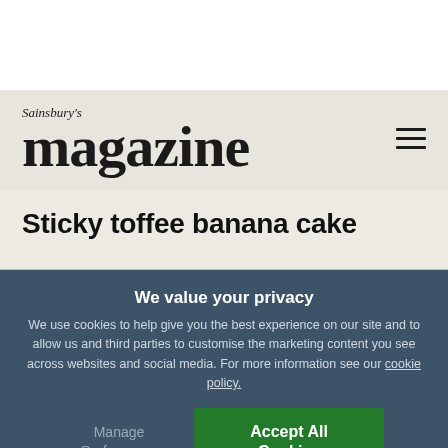Sainsbury's magazine
Sticky toffee banana cake
We value your privacy
We use cookies to help give you the best experience on our site and to allow us and third parties to customise the marketing content you see across websites and social media. For more information see our cookie policy.
Manage Preferences
Accept All Cookies